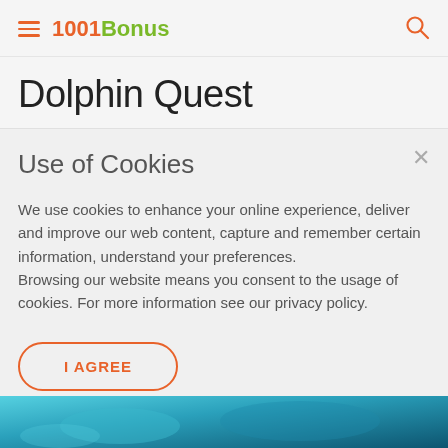1001Bonus
Dolphin Quest
Use of Cookies
We use cookies to enhance your online experience, deliver and improve our web content, capture and remember certain information, understand your preferences.
Browsing our website means you consent to the usage of cookies. For more information see our privacy policy.
I AGREE
[Figure (photo): Underwater photo showing dolphins swimming in blue water]